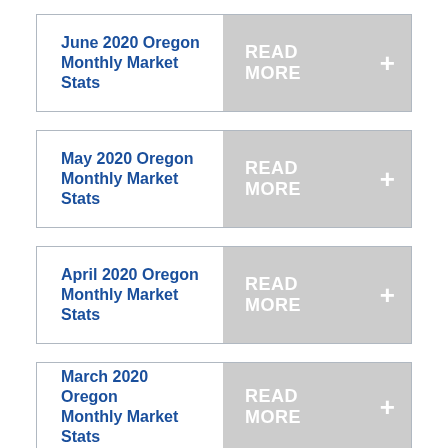June 2020 Oregon Monthly Market Stats
May 2020 Oregon Monthly Market Stats
April 2020 Oregon Monthly Market Stats
March 2020 Oregon Monthly Market Stats